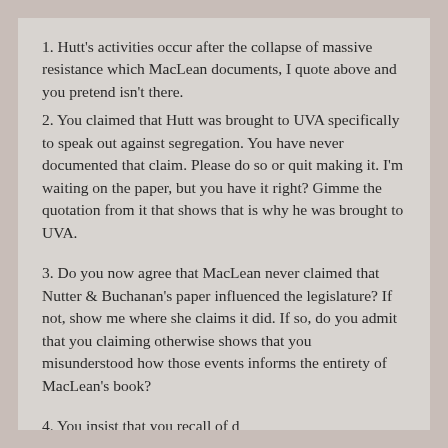1. Hutt's activities occur after the collapse of massive resistance which MacLean documents, I quote above and you pretend isn't there.
2. You claimed that Hutt was brought to UVA specifically to speak out against segregation. You have never documented that claim. Please do so or quit making it. I'm waiting on the paper, but you have it right? Gimme the quotation from it that shows that is why he was brought to UVA.
3. Do you now agree that MacLean never claimed that Nutter & Buchanan's paper influenced the legislature? If not, show me where she claims it did. If so, do you admit that you claiming otherwise shows that you misunderstood how those events informs the entirety of MacLean's book?
4. You insist that...